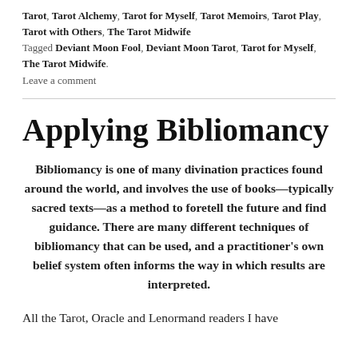Tarot, Tarot Alchemy, Tarot for Myself, Tarot Memoirs, Tarot Play, Tarot with Others, The Tarot Midwife Tagged Deviant Moon Fool, Deviant Moon Tarot, Tarot for Myself, The Tarot Midwife.
Leave a comment
Applying Bibliomancy
Bibliomancy is one of many divination practices found around the world, and involves the use of books—typically sacred texts—as a method to foretell the future and find guidance. There are many different techniques of bibliomancy that can be used, and a practitioner's own belief system often informs the way in which results are interpreted.
All the Tarot, Oracle and Lenormand readers I have